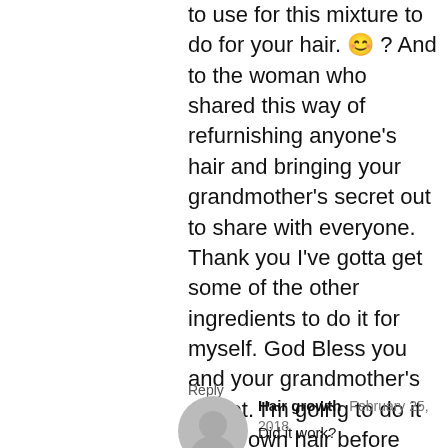to use for this mixture to do for your hair. 😊 ? And to the woman who shared this way of refurnishing anyone's hair and bringing your grandmother's secret out to share with everyone. Thank you I've gotta get some of the other ingredients to do it for myself. God Bless you and your grandmother's secret. I'm going to do it to my own hair before trying or using other ways that I've heard or reading over the internet from other people. Thanku again.
Reply
[Figure (illustration): Gray circular avatar placeholder for user Hair growth]
Hair growth  February 25, 2018
Did it work?